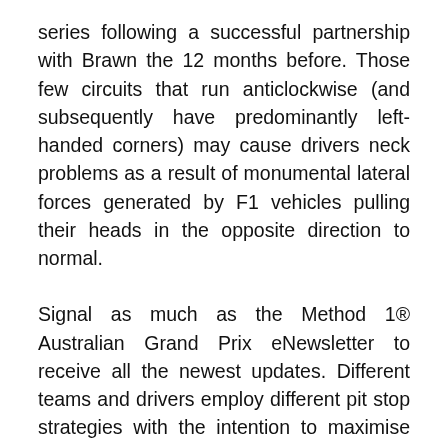series following a successful partnership with Brawn the 12 months before. Those few circuits that run anticlockwise (and subsequently have predominantly left-handed corners) may cause drivers neck problems as a result of monumental lateral forces generated by F1 vehicles pulling their heads in the opposite direction to normal.
Signal as much as the Method 1® Australian Grand Prix eNewsletter to receive all the newest updates. Different teams and drivers employ different pit stop strategies with the intention to maximise their automobile's potential. In the 2007 season, for the first time because the 1981 rule, two groups used chassis constructed by different teams. They've amassed a document 228 race wins, sixteen constructors' championships and 15